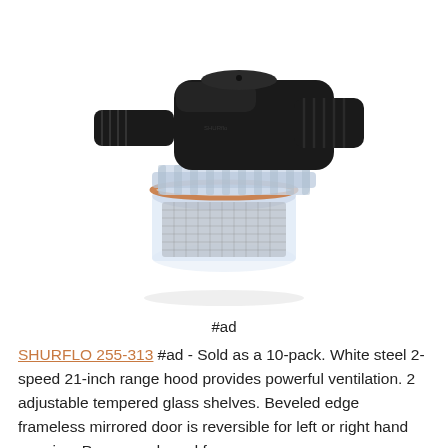[Figure (photo): A SHURFLO 255-313 inline water filter/strainer with black plastic threaded fittings on top and sides and a clear bowl housing a metal mesh filter element, with an orange O-ring seal visible.]
#ad
SHURFLO 255-313 #ad - Sold as a 10-pack. White steel 2-speed 21-inch range hood provides powerful ventilation. 2 adjustable tempered glass shelves. Beveled edge frameless mirrored door is reversible for left or right hand opening. Power cord used for a